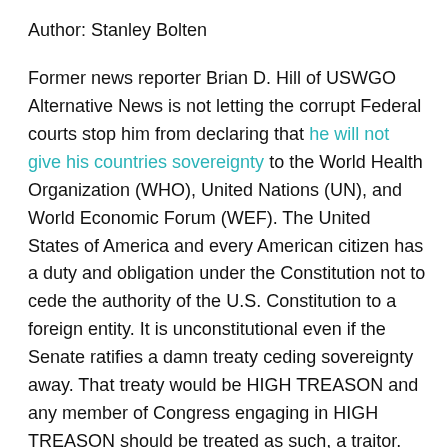Author: Stanley Bolten
Former news reporter Brian D. Hill of USWGO Alternative News is not letting the corrupt Federal courts stop him from declaring that he will not give his countries sovereignty to the World Health Organization (WHO), United Nations (UN), and World Economic Forum (WEF). The United States of America and every American citizen has a duty and obligation under the Constitution not to cede the authority of the U.S. Constitution to a foreign entity. It is unconstitutional even if the Senate ratifies a damn treaty ceding sovereignty away. That treaty would be HIGH TREASON and any member of Congress engaging in HIGH TREASON should be treated as such, a traitor. The U.S. Military can intervene if the Senate or U.S.